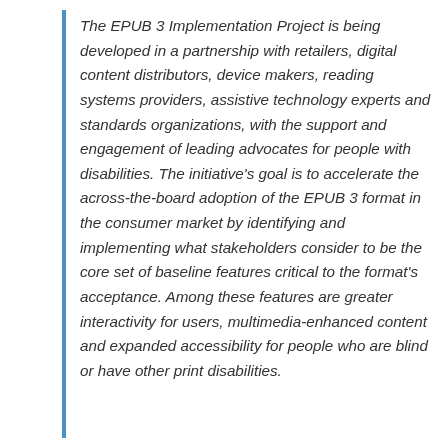The EPUB 3 Implementation Project is being developed in a partnership with retailers, digital content distributors, device makers, reading systems providers, assistive technology experts and standards organizations, with the support and engagement of leading advocates for people with disabilities. The initiative's goal is to accelerate the across-the-board adoption of the EPUB 3 format in the consumer market by identifying and implementing what stakeholders consider to be the core set of baseline features critical to the format's acceptance. Among these features are greater interactivity for users, multimedia-enhanced content and expanded accessibility for people who are blind or have other print disabilities.